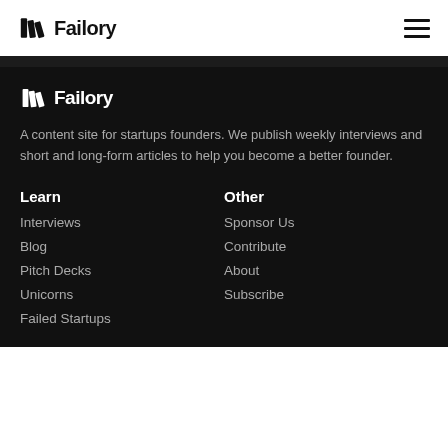Failory
[Figure (logo): Failory logo with book/pages icon in black, white background header]
A content site for startups founders. We publish weekly interviews and short and long-form articles to help you become a better founder.
Learn
Interviews
Blog
Pitch Decks
Unicorns
Failed Startups
Other
Sponsor Us
Contribute
About
Subscribe